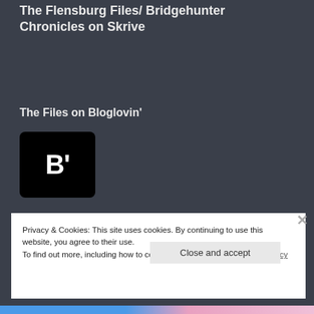The Flensburg Files/ Bridgehunter Chronicles on Skrive
The Files on Bloglovin'
[Figure (logo): Bloglovin' logo: black rounded square with white bold letter B and apostrophe]
Privacy & Cookies: This site uses cookies. By continuing to use this website, you agree to their use.
To find out more, including how to control cookies, see here: Cookie Policy
Close and accept